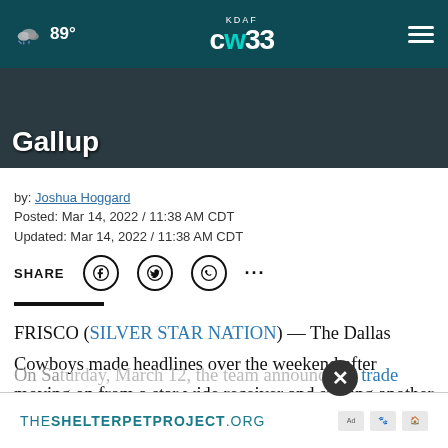KDAF CW33 | 89°
Gallup
by: Joshua Hoggard
Posted: Mar 14, 2022 / 11:38 AM CDT
Updated: Mar 14, 2022 / 11:38 AM CDT
SHARE (social icons: Facebook, Twitter, WhatsApp, more)
FRISCO (SILVER STAR NATION) — The Dallas Cowboys made headlines over the weekend after moving on from a star wide receiver and signing another to a five-year extension.
On Saturday, March 12, the team announced a trade
[Figure (screenshot): Advertisement banner for THESHELTERPETPROJECT.ORG with ad choice icons]